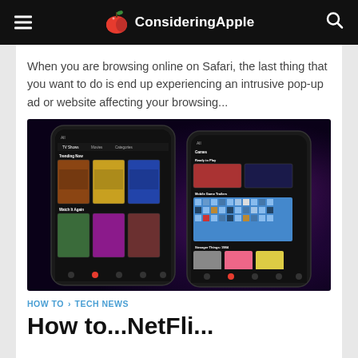ConsideringApple
When you are browsing online on Safari, the last thing that you want to do is end up experiencing an intrusive pop-up ad or website affecting your browsing...
[Figure (photo): Two dark Android smartphones showing the Netflix app interface with movie/game thumbnails on a dark purple/black background]
HOW TO · TECH NEWS
How to...NetFli...